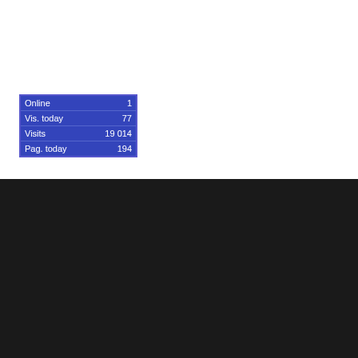|  |  |
| --- | --- |
| Online | 1 |
| Vis. today | 77 |
| Visits | 19 014 |
| Pag. today | 194 |
POPULAR POSTS
Australia v Zimbabwe ODI: Muzaraban returns as Zimbabwe name squad
August 23, 2022
Injury forces Krunal Pandya to terminate contract with Warwickshire